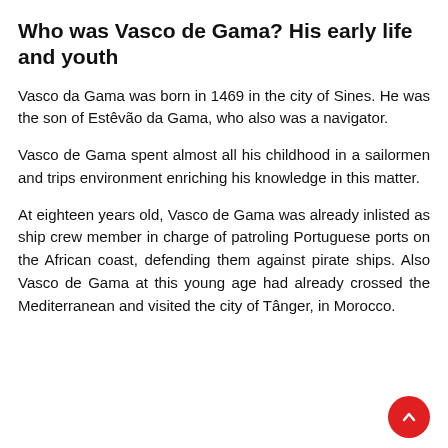Who was Vasco de Gama? His early life and youth
Vasco da Gama was born in 1469 in the city of Sines. He was the son of Estêvão da Gama, who also was a navigator.
Vasco de Gama spent almost all his childhood in a sailormen and trips environment enriching his knowledge in this matter.
At eighteen years old, Vasco de Gama was already inlisted as ship crew member in charge of patroling Portuguese ports on the African coast, defending them against pirate ships. Also Vasco de Gama at this young age had already crossed the Mediterranean and visited the city of Tânger, in Morocco.